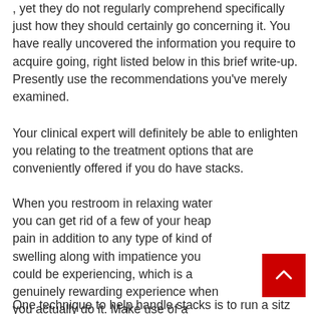, yet they do not regularly comprehend specifically just how they should certainly go concerning it. You have really uncovered the information you require to acquire going, right listed below in this brief write-up. Presently use the recommendations you've merely examined.
Your clinical expert will definitely be able to enlighten you relating to the treatment options that are conveniently offered if you do have stacks.
When you restroom in relaxing water you can get rid of a few of your heap pain in addition to any type of kind of swelling along with impatience you could be experiencing, which is a genuinely rewarding experience when you actually do it. Make use of a hemorrhoid cream produced stacks; merely do not use it likewise commonly. Heaps can be secured inside your anus as well as additionally may be a lot less more than likely to acquire irritated hemorrhage.
One technique to help handle stacks is to run a sitz...